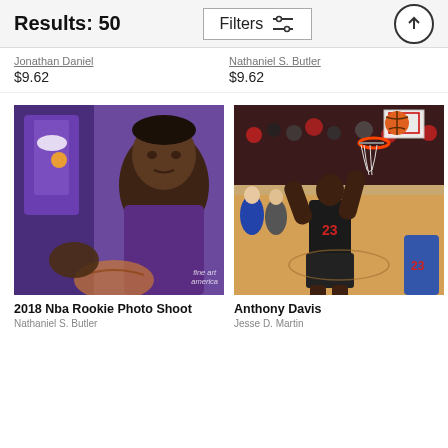Results: 50
Jonathan Daniel
$9.62
Nathaniel S. Butler
$9.62
[Figure (photo): 2018 NBA Rookie Photo Shoot - young basketball player in Phoenix Suns purple jersey smiling at camera with fine art america watermark]
[Figure (photo): Anthony Davis dunking or making a basket during NBA All-Star game, player #23 visible from behind]
2018 Nba Rookie Photo Shoot
Anthony Davis